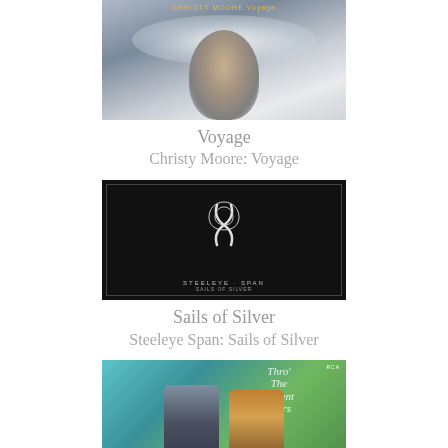[Figure (photo): Album cover for Christy Moore: Voyage — dark atmospheric image of a person's face partially obscured by clouds]
Voyage
Christy Moore: Voyage
[Figure (photo): Album cover for Steeleye Span: Sails of Silver — black background with a stylized silver S symbol and band name text at bottom]
Sails of Silver
Steeleye Span: Sails of Silver
[Figure (photo): Album cover for Archie Fisher & Barbara Dickson: Thro' The Recent Years — two people standing in winter coats against a teal/green background]
Thro' The Recent Years
Archie Fisher & Barbara Dickson: Thro' The Recent Years